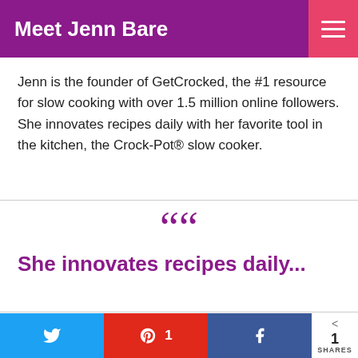Meet Jenn Bare
Jenn is the founder of GetCrocked, the #1 resource for slow cooking with over 1.5 million online followers. She innovates recipes daily with her favorite tool in the kitchen, the Crock-Pot® slow cooker.
““
She innovates recipes daily...
Jenn Bare is a Mom, Chef & the Crock-Pot® Girl